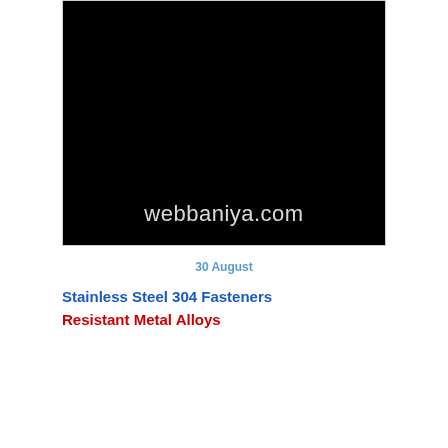[Figure (logo): Black background image with 'webbaniya.com' watermark text in white/grey at the bottom]
30 August
Stainless Steel 304 Fasteners
Resistant Metal Alloys